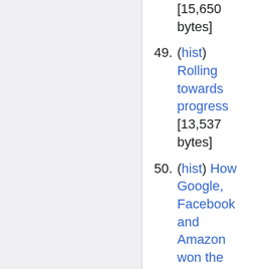[15,650 bytes]
49. (hist) Rolling towards progress [13,537 bytes]
50. (hist) How Google, Facebook and Amazon won the